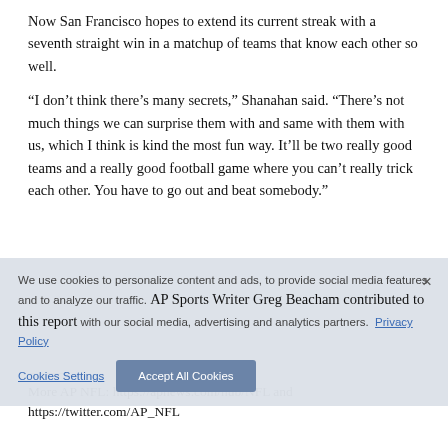Now San Francisco hopes to extend its current streak with a seventh straight win in a matchup of teams that know each other so well.
“I don’t think there’s many secrets,” Shanahan said. “There’s not much things we can surprise them with and same with them with us, which I think is kind the most fun way. It’ll be two really good teams and a really good football game where you can’t really trick each other. You have to go out and beat somebody.”
AP Sports Writer Greg Beacham contributed to this report
More AP NFL: https://apnews.com/hub/NFL and https://twitter.com/AP_NFL